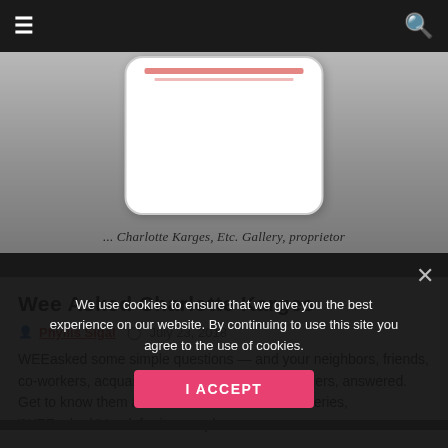Navigation bar with menu and search icons
[Figure (photo): Article hero image showing a white rounded card/sign with red script text and the caption '... Charlotte Karges, Etc. Gallery, proprietor' over a grey gradient background]
Wee Asked Charlotte Karges
Phyllis Sigal  July 23, 2018
WEEasked some simple questions — and your neighbors, friends, co-workers, acquaintances, maybe some strangers, answered. Get to know them a little bit better with our fun series, "WEEasked." Look for it a coupl…
We use cookies to ensure that we give you the best experience on our website. By continuing to use this site you agree to the use of cookies.